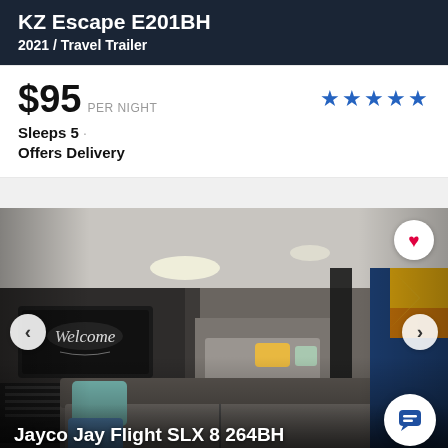KZ Escape E201BH
2021 / Travel Trailer
$95 PER NIGHT
Sleeps 5
Offers Delivery
[Figure (photo): Interior of a travel trailer showing a gray sofa with teal pillow, bunk beds with yellow pillow in background, a Welcome sign on the wall, and an Arizona flag on the right wall. Navigation arrows and heart/chat buttons overlay the photo.]
Jayco Jay Flight SLX 8 264BH